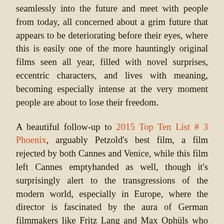seamlessly into the future and meet with people from today, all concerned about a grim future that appears to be deteriorating before their eyes, where this is easily one of the more hauntingly original films seen all year, filled with novel surprises, eccentric characters, and lives with meaning, becoming especially intense at the very moment people are about to lose their freedom.
A beautiful follow-up to 2015 Top Ten List # 3 Phoenix, arguably Petzold's best film, a film rejected by both Cannes and Venice, while this film left Cannes emptyhanded as well, though it's surprisingly alert to the transgressions of the modern world, especially in Europe, where the director is fascinated by the aura of German filmmakers like Fritz Lang and Max Ophüls who fled to America to escape Hitler, claiming "The light from Germany went to the U.S.A. in the 1930's…We have to bring the light and style back to Germany, especially the noir which was created by Austrian and German refugees." And in this film, refugees are hidden throughout France, filling every nook and cranny, seen scurrying around like rats trying to escape as a fascist police network is inevitably closing in. While the murky atmosphere creeps up on viewers, what we learn from the outset is that Georg meets a clandestine friend at a bar in Paris, told that the city is